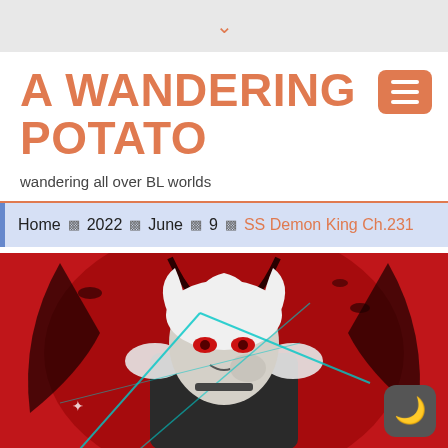▾
A WANDERING POTATO
wandering all over BL worlds
Home ❯ 2022 ❯ June ❯ 9 ❯ SS Demon King Ch.231
[Figure (illustration): Anime-style illustration of a white-haired demon king character with red eyes, wearing fur-trimmed dark armor, set against a red background with bats and dark ornamental wings. Teal geometric lines overlay the image.]